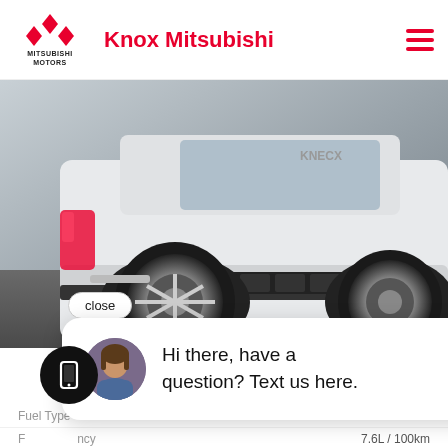[Figure (logo): Mitsubishi Motors logo with three red diamonds and text MITSUBISHI MOTORS]
Knox Mitsubishi
[Figure (photo): Rear view of a white Mitsubishi SUV (Eclipse Cross) parked on asphalt, showing rear wheel, bumper and tailgate]
close
Hi there, have a question? Text us here.
~828km
Average per tank
| Spec | Value |
| --- | --- |
| Fuel Type | Petrol |
| Fuel Efficiency | 7.6L / 100km |
| Transmission | Automatic |
| Odometer | 79,199 kms |